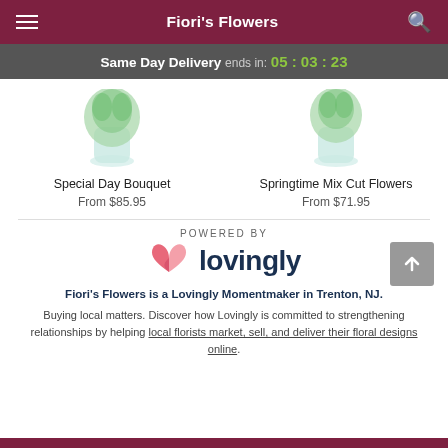Fiori's Flowers
Same Day Delivery ends in: 05 : 03 : 23
Special Day Bouquet
From $85.95
Springtime Mix Cut Flowers
From $71.95
POWERED BY
[Figure (logo): Lovingly logo with pink/red heart icon and dark blue 'lovingly' text]
Fiori's Flowers is a Lovingly Momentmaker in Trenton, NJ.
Buying local matters. Discover how Lovingly is committed to strengthening relationships by helping local florists market, sell, and deliver their floral designs online.